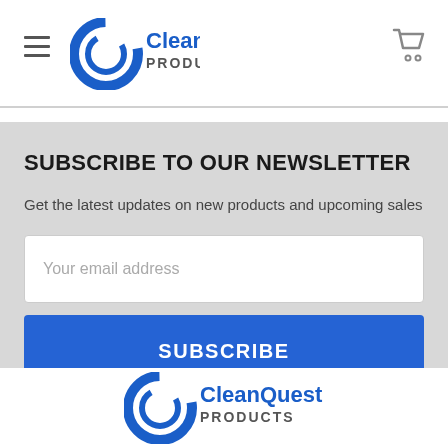CleanQuest PRODUCTS
SUBSCRIBE TO OUR NEWSLETTER
Get the latest updates on new products and upcoming sales
Your email address
SUBSCRIBE
[Figure (logo): CleanQuest Products logo with blue swirl C icon and bold blue text CleanQuest with grey PRODUCTS below]